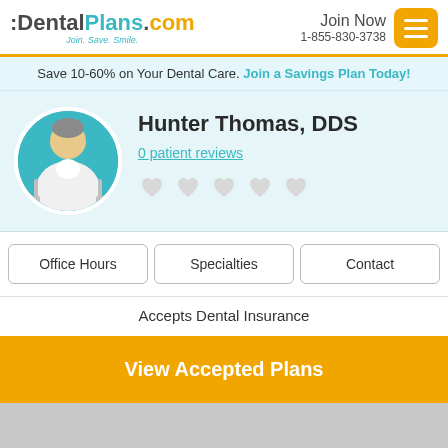:DentalPlans.com Join. Save. Smile. | Join Now 1-855-830-3738
Save 10-60% on Your Dental Care. Join a Savings Plan Today!
[Figure (illustration): Circular avatar of a dentist in a teal circle with dental tools]
Hunter Thomas, DDS
0 patient reviews
[Figure (other): 5 empty heart rating icons]
Office Hours
Specialties
Contact
Accepts Dental Insurance
View Accepted Plans